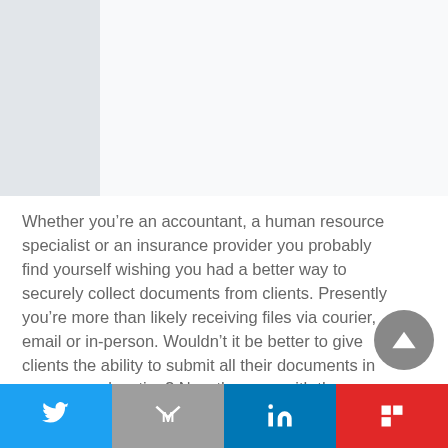[Figure (screenshot): Top banner/screenshot area with light grey panels]
Whether you’re an accountant, a human resource specialist or an insurance provider you probably find yourself wishing you had a better way to securely collect documents from clients. Presently you’re more than likely receiving files via courier, email or in-person. Wouldn’t it be better to give clients the ability to submit all their documents in one secure location? Now they can with the TitanFile Secure Deposit Box.
[Figure (other): Social sharing bar with Twitter, Gmail, LinkedIn, and Flipboard buttons]